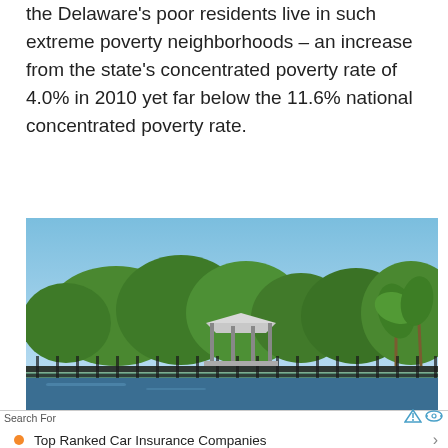the Delaware's poor residents live in such extreme poverty neighborhoods – an increase from the state's concentrated poverty rate of 4.0% in 2010 yet far below the 11.6% national concentrated poverty rate.
[Figure (photo): Outdoor photo showing a clear blue sky above a line of green trees and palm trees, with a gazebo/pavilion structure near a waterfront, a metal fence in the foreground.]
Search For
Top Ranked Car Insurance Companies
Cheap Abandoned Homes For Sale